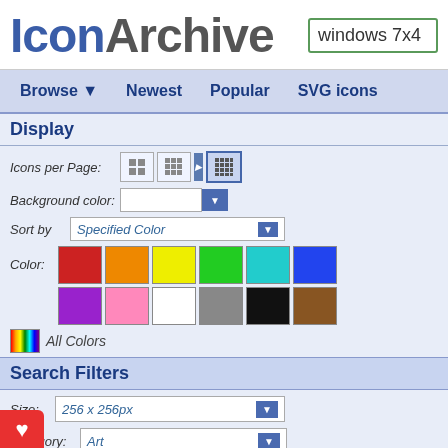IconArchive — windows 7x4
Browse ▼  Newest  Popular  SVG icons
Display
Icons per Page:
Background color:
Sort by  Specified Color
Color:
All Colors
Search Filters
Size:  256 x 256px
Category:  Art
e:  Fun / Cartoon
Results 1-0 of 0 for search term »windows 7x4
Your search for »windows 7x4
If you agree to remove the fi
Results 1-0 of 0 for search term »